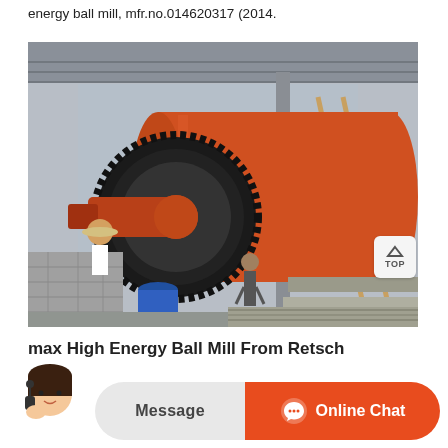energy ball mill, mfr.no.014620317 (2014.
[Figure (photo): Large industrial orange ball mill machinery installed in a factory/industrial shed. A large gear wheel and cylindrical drum are visible, with a worker in a hat and another person standing near the equipment. A ladder leans against the pole in the background.]
max High Energy Ball Mill From Retsch
unique combination of high impact and friction produces ultrafine